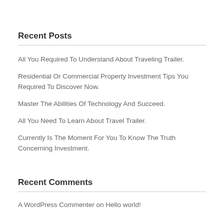Recent Posts
All You Required To Understand About Traveling Trailer.
Residential Or Commercial Property Investment Tips You Required To Discover Now.
Master The Abilities Of Technology And Succeed.
All You Need To Learn About Travel Trailer.
Currently Is The Moment For You To Know The Truth Concerning Investment.
Recent Comments
A WordPress Commenter on Hello world!